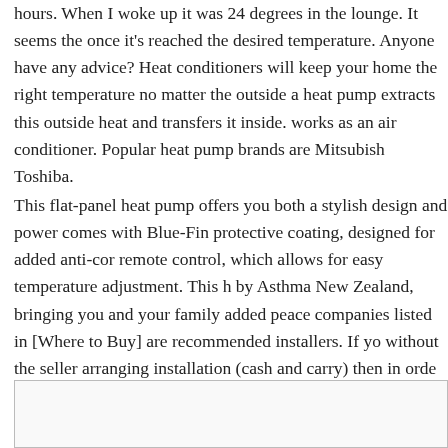hours. When I woke up it was 24 degrees in the lounge. It seems the once it's reached the desired temperature. Anyone have any advice? Heat conditioners will keep your home the right temperature no matter the outside a heat pump extracts this outside heat and transfers it inside. works as an air conditioner. Popular heat pump brands are Mitsubish Toshiba.
This flat-panel heat pump offers you both a stylish design and power comes with Blue-Fin protective coating, designed for added anti-cor remote control, which allows for easy temperature adjustment. This h by Asthma New Zealand, bringing you and your family added peace companies listed in [Where to Buy] are recommended installers. If yo without the seller arranging installation (cash and carry) then in orde remains valid, the product must be installed by a Certified Gree вЂ¦
[Figure (other): Empty bordered box/image placeholder at bottom of page]